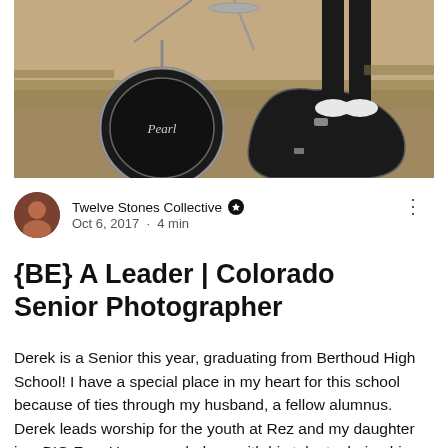[Figure (photo): Outdoor photo showing a Pearl bass drum and a guitar case on rocky/grassy ground, with a person's legs in dark pants and white shoes standing on the guitar case. Musical instruments in a natural setting.]
Twelve Stones Collective · Oct 6, 2017 · 4 min
{BE} A Leader | Colorado Senior Photographer
Derek is a Senior this year, graduating from Berthoud High School! I have a special place in my heart for this school because of ties through my husband, a fellow alumnus. Derek leads worship for the youth at Rez and my daughter is a BIG Fan. He serenaded me with his talents during his shoot and I have